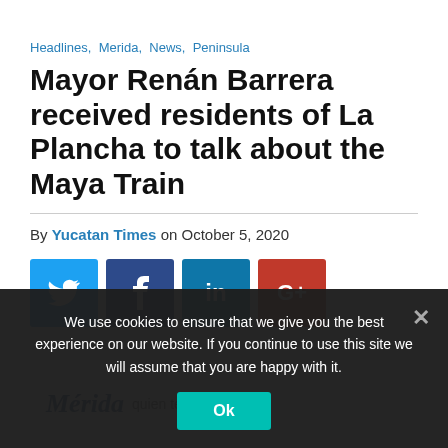Headlines, Merida, News, Peninsula
Mayor Renán Barrera received residents of La Plancha to talk about the Maya Train
By Yucatan Times on October 5, 2020
[Figure (other): Social media share buttons: Twitter (blue), Facebook (dark blue), LinkedIn (blue), Google+ (red)]
[Figure (other): Mérida quien te conozca banner advertisement]
We use cookies to ensure that we give you the best experience on our website. If you continue to use this site we will assume that you are happy with it.